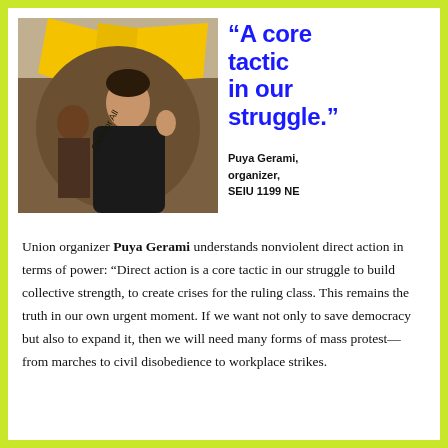[Figure (photo): Photo of Puya Gerami, a man at a rally/protest with yellow union flags in the background, raising his hand]
“A core tactic in our struggle.”
Puya Gerami, organizer, SEIU 1199 NE
Union organizer Puya Gerami understands nonviolent direct action in terms of power: “Direct action is a core tactic in our struggle to build collective strength, to create crises for the ruling class. This remains the truth in our own urgent moment. If we want not only to save democracy but also to expand it, then we will need many forms of mass protest—from marches to civil disobedience to workplace strikes.